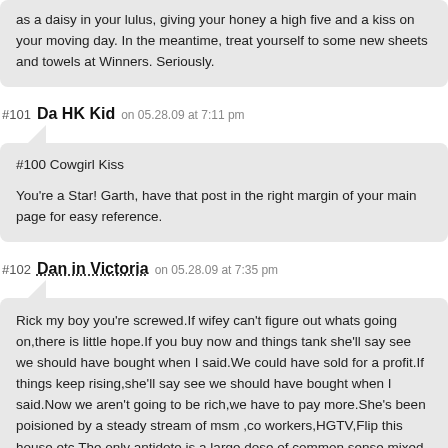as a daisy in your lulus, giving your honey a high five and a kiss on your moving day. In the meantime, treat yourself to some new sheets and towels at Winners. Seriously.
#101 Da HK Kid on 05.28.09 at 7:11 pm
#100 Cowgirl Kiss

You're a Star! Garth, have that post in the right margin of your main page for easy reference.
#102 Dan in Victoria on 05.28.09 at 7:35 pm
Rick my boy you're screwed.If wifey can't figure out whats going on,there is little hope.If you buy now and things tank she'll say see we should have bought when I said.We could have sold for a profit.If things keep rising,she'll say see we should have bought when I said.Now we aren't going to be rich,we have to pay more.She's been poisioned by a steady stream of msm ,co workers,HGTV,Flip this house,etc.The only antidote is a large dose of common sense mixed with some blog kool aid.Garths blog.